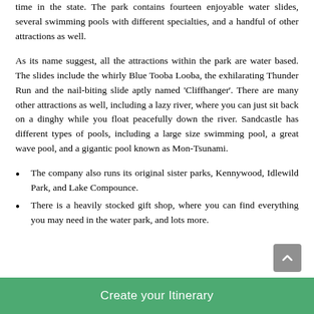time in the state. The park contains fourteen enjoyable water slides, several swimming pools with different specialties, and a handful of other attractions as well.
As its name suggest, all the attractions within the park are water based. The slides include the whirly Blue Tooba Looba, the exhilarating Thunder Run and the nail-biting slide aptly named 'Cliffhanger'. There are many other attractions as well, including a lazy river, where you can just sit back on a dinghy while you float peacefully down the river. Sandcastle has different types of pools, including a large size swimming pool, a great wave pool, and a gigantic pool known as Mon-Tsunami.
The company also runs its original sister parks, Kennywood, Idlewild Park, and Lake Compounce.
There is a heavily stocked gift shop, where you can find everything you may need in the water park, and lots more.
Create your Itinerary